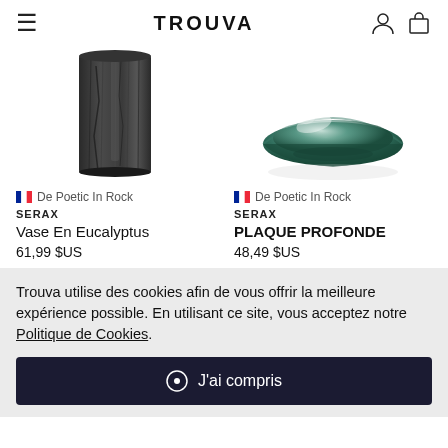TROUVA
[Figure (photo): Dark stone/wood vase (Eucalyptus vase by Serax) — rough dark gray textured rectangular form]
[Figure (photo): Green ceramic bowl (Plaque Profonde by Serax) — round dark teal/green shallow bowl with glossy glaze]
De Poetic In Rock
SERAX
Vase En Eucalyptus
61,99 $US
De Poetic In Rock
SERAX
PLAQUE PROFONDE
48,49 $US
Trouva utilise des cookies afin de vous offrir la meilleure expérience possible. En utilisant ce site, vous acceptez notre Politique de Cookies.
J'ai compris